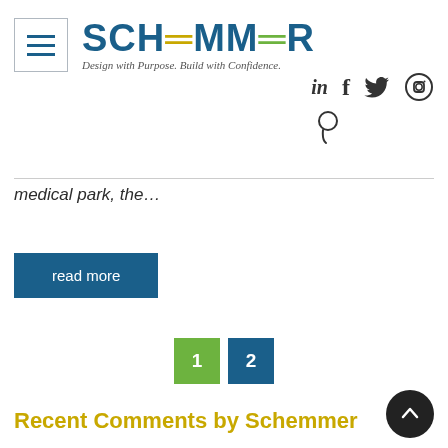[Figure (logo): Schemmer logo with hamburger menu icon, blue text SCHEMMER with yellow and green dashes, tagline: Design with Purpose. Build with Confidence.]
[Figure (infographic): Social media icons: LinkedIn, Facebook, Twitter, Instagram, Pinterest]
medical park, the...
read more
1  2
Recent Comments by Schemmer